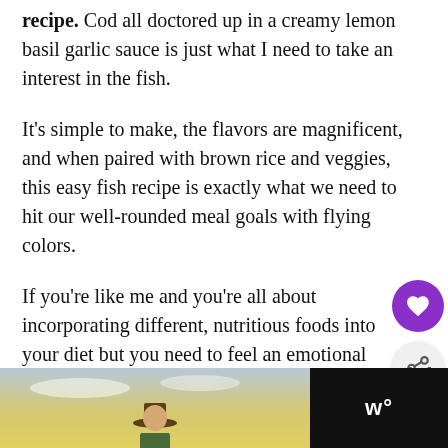recipe. Cod all doctored up in a creamy lemon basil garlic sauce is just what I need to take an interest in the fish.
It's simple to make, the flavors are magnificent, and when paired with brown rice and veggies, this easy fish recipe is exactly what we need to hit our well-rounded meal goals with flying colors.
If you're like me and you're all about incorporating different, nutritious foods into your diet but you need to feel an emotional connection in order to ignite that flame, this recipe was made
[Figure (screenshot): UI overlay with heart (save) button in purple circle, share button in grey circle, and 'WHAT'S NEXT' card showing thumbnail and text '30-Minute Creamy...']
[Figure (photo): Advertisement banner at bottom of page showing a person in a ranger hat against a sky background, with a logo showing 'w°' on a dark background]